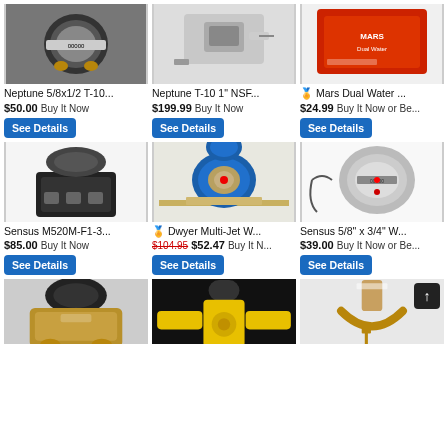[Figure (photo): Neptune 5/8x1/2 T-10 water meter, black face]
Neptune 5/8x1/2 T-10...
$50.00 Buy It Now
See Details
[Figure (photo): Neptune T-10 1" NSF water meter with pipe fitting]
Neptune T-10 1" NSF...
$199.99 Buy It Now
See Details
[Figure (photo): Mars Dual Water meter, red labeled device in packaging]
🏅 Mars Dual Water ...
$24.99 Buy It Now or Be...
See Details
[Figure (photo): Sensus M520M-F1-3 black water meter]
Sensus M520M-F1-3...
$85.00 Buy It Now
See Details
[Figure (photo): Dwyer Multi-Jet blue water meter on ruler]
🏅 Dwyer Multi-Jet W...
$104.95 $52.47 Buy It N...
See Details
[Figure (photo): Sensus 5/8" x 3/4" water meter with cable]
Sensus 5/8" x 3/4" W...
$39.00 Buy It Now or Be...
See Details
[Figure (photo): Bronze water meter body bottom row left]
[Figure (photo): Yellow cross fitting bottom row center]
[Figure (photo): Brass faucet fixture with price tag bottom row right, scroll-to-top button overlay]